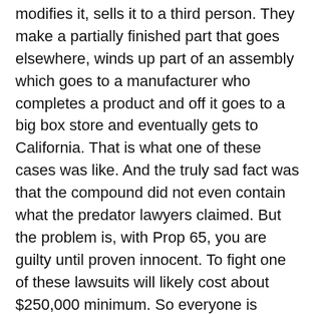modifies it, sells it to a third person. They make a partially finished part that goes elsewhere, winds up part of an assembly which goes to a manufacturer who completes a product and off it goes to a big box store and eventually gets to California. That is what one of these cases was like. And the truly sad fact was that the compound did not even contain what the predator lawyers claimed. But the problem is, with Prop 65, you are guilty until proven innocent. To fight one of these lawsuits will likely cost about $250,000 minimum. So everyone is settling for whatever will make the predators go away, usually about $50,000.
And these predators work the food chain. In one case they brought a lawsuit against a consumer product company, and they told the store